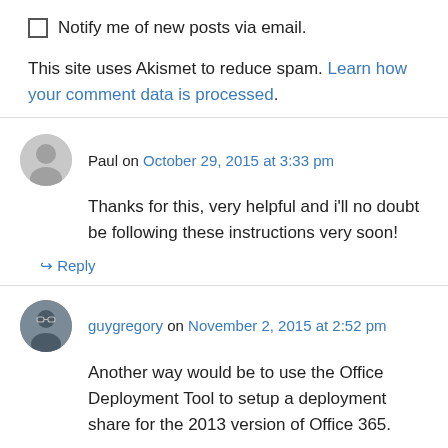Notify me of new posts via email.
This site uses Akismet to reduce spam. Learn how your comment data is processed.
Paul on October 29, 2015 at 3:33 pm
Thanks for this, very helpful and i'll no doubt be following these instructions very soon!
↳ Reply
guygregory on November 2, 2015 at 2:52 pm
Another way would be to use the Office Deployment Tool to setup a deployment share for the 2013 version of Office 365.